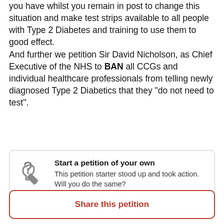you have whilst you remain in post to change this situation and make test strips available to all people with Type 2 Diabetes and training to use them to good effect.
And further we petition Sir David Nicholson, as Chief Executive of the NHS to BAN all CCGs and individual healthcare professionals from telling newly diagnosed Type 2 Diabetics that they "do not need to test".
Start a petition of your own
This petition starter stood up and took action. Will you do the same?
Share this petition